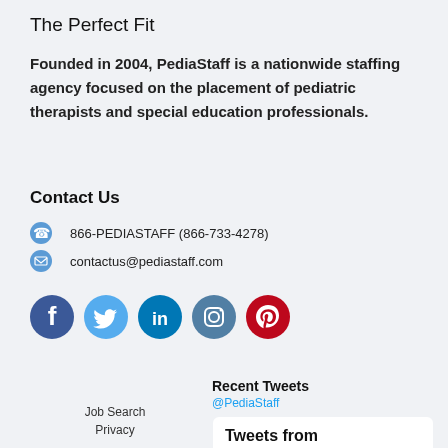The Perfect Fit
Founded in 2004, PediaStaff is a nationwide staffing agency focused on the placement of pediatric therapists and special education professionals.
Contact Us
866-PEDIASTAFF (866-733-4278)
contactus@pediastaff.com
[Figure (infographic): Social media icons: Facebook (dark blue), Twitter (light blue), LinkedIn (blue), Instagram (teal/gray), Pinterest (red)]
Recent Tweets
@PediaStaff
Job Search
Privacy
Tweets from